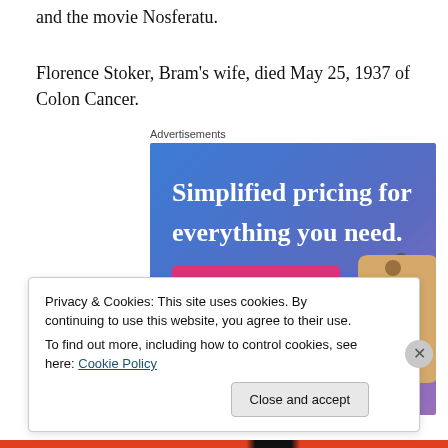and the movie Nosferatu.
Florence Stoker, Bram's wife, died May 25, 1937 of Colon Cancer.
[Figure (screenshot): Advertisement banner with gradient blue-to-purple background showing text 'Simplified pricing for everything you need.' with a pink 'Build Your Website' button and a price tag image on the right.]
Privacy & Cookies: This site uses cookies. By continuing to use this website, you agree to their use.
To find out more, including how to control cookies, see here: Cookie Policy
Close and accept